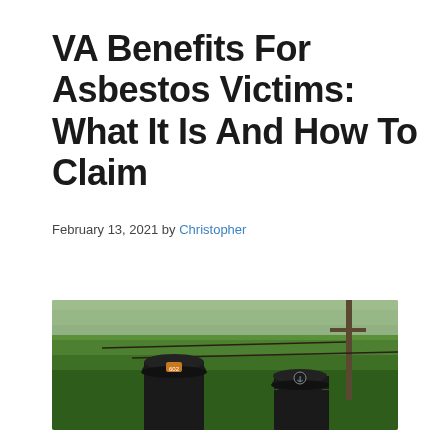VA Benefits For Asbestos Victims: What It Is And How To Claim
February 13, 2021 by Christopher
[Figure (photo): Two veterans wearing military caps/garrison hats standing outdoors with trees and utility poles in the background]